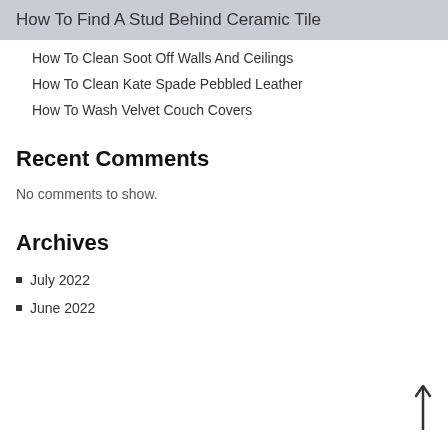How To Find A Stud Behind Ceramic Tile
How To Clean Soot Off Walls And Ceilings
How To Clean Kate Spade Pebbled Leather
How To Wash Velvet Couch Covers
Recent Comments
No comments to show.
Archives
July 2022
June 2022